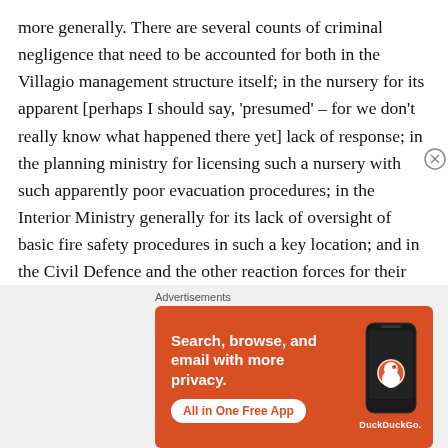more generally. There are several counts of criminal negligence that need to be accounted for both in the Villagio management structure itself; in the nursery for its apparent [perhaps I should say, 'presumed' – for we don't really know what happened there yet] lack of response; in the planning ministry for licensing such a nursery with such apparently poor evacuation procedures; in the Interior Ministry generally for its lack of oversight of basic fire safety procedures in such a key location; and in the Civil Defence and the other reaction forces for their seemingly chaotic response to an incident.
[Figure (screenshot): DuckDuckGo advertisement banner: orange background with text 'Search, browse, and email with more privacy. All in One Free App' and phone image with DuckDuckGo logo]